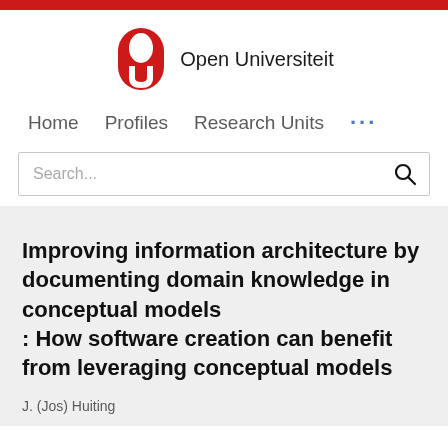[Figure (logo): Open Universiteit logo with red capsule/pill shaped icon and text 'Open Universiteit']
Home   Profiles   Research Units   ...
Search...
Improving information architecture by documenting domain knowledge in conceptual models : How software creation can benefit from leveraging conceptual models
J. (Jos) Huiting